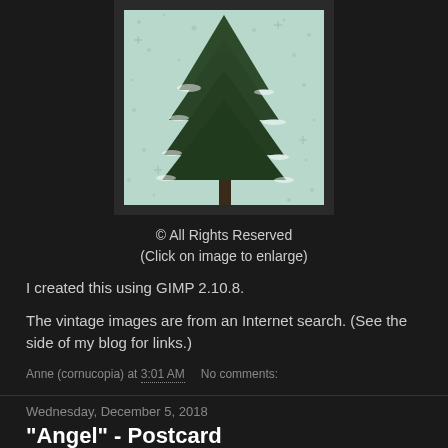[Figure (photo): A vintage-style image of a pine/evergreen tree on a light teal/mint background with snowflake patterns, displayed in a dark frame. Only the top portion of the tree is visible.]
© All Rights Reserved
(Click on image to enlarge)
I created this using GIMP 2.10.8.
The vintage images are from an Internet search. (See the side of my blog for links.)
Anne (cornucopia) at 3:01 AM     No comments:
Wednesday, December 5, 2018
"Angel" - Postcard